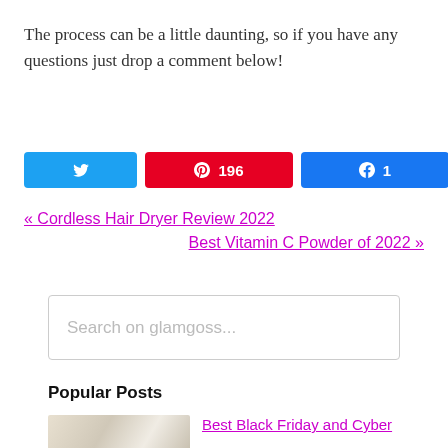The process can be a little daunting, so if you have any questions just drop a comment below!
[Figure (infographic): Social share buttons: Twitter (blue), Pinterest with count 196 (red), Facebook with count 1 (blue), and total share count showing 197 SHARES]
« Cordless Hair Dryer Review 2022
Best Vitamin C Powder of 2022 »
Search on glamgoss...
Popular Posts
Best Black Friday and Cyber